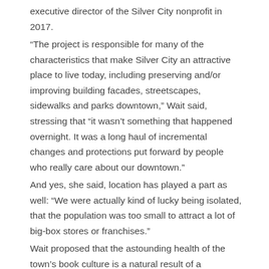executive director of the Silver City nonprofit in 2017.
“The project is responsible for many of the characteristics that make Silver City an attractive place to live today, including preserving and/or improving building facades, streetscapes, sidewalks and parks downtown,” Wait said, stressing that “it wasn’t something that happened overnight. It was a long haul of incremental changes and protections put forward by people who really care about our downtown.”
And yes, she said, location has played a part as well: “We were actually kind of lucky being isolated, that the population was too small to attract a lot of big-box stores or franchises.”
Wait proposed that the astounding health of the town’s book culture is a natural result of a community committed to protecting and preserving an environment it has come to treasure. That’s why, while approximately one bookstore closed per week nationwide in 2020, all three of Silver City’s bookstores are still in business in 2022, with the new SWAG store opening this month. SWAG’s confidence in opening yet another bookstore downtown is